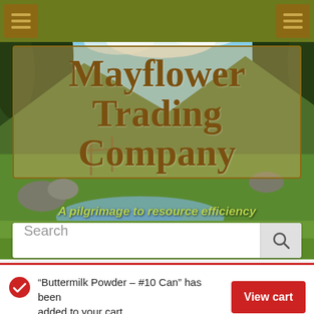Navigation bar with hamburger menus
[Figure (photo): Outdoor landscape photo showing a wooden covered bridge or structure, green fields, rocky stream, and forest with blue sky. Serves as hero background for Mayflower Trading Company website.]
Mayflower Trading Company
A pilgrimage to resource efficiency
Search
"Buttermilk Powder – #10 Can" has been added to your cart.
View cart